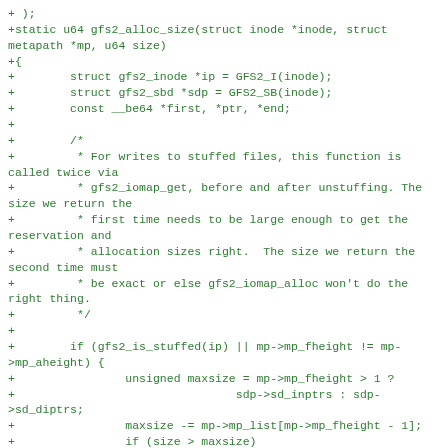+ );
+static u64 gfs2_alloc_size(struct inode *inode, struct metapath *mp, u64 size)
+{
+        struct gfs2_inode *ip = GFS2_I(inode);
+        struct gfs2_sbd *sdp = GFS2_SB(inode);
+        const __be64 *first, *ptr, *end;
+
+        /*
+         * For writes to stuffed files, this function is called twice via
+         * gfs2_iomap_get, before and after unstuffing. The size we return the
+         * first time needs to be large enough to get the reservation and
+         * allocation sizes right.  The size we return the second time must
+         * be exact or else gfs2_iomap_alloc won't do the right thing.
+         */
+
+        if (gfs2_is_stuffed(ip) || mp->mp_fheight != mp->mp_aheight) {
+                unsigned maxsize = mp->mp_fheight > 1 ?
+                                sdp->sd_inptrs : sdp->sd_diptrs;
+                maxsize -= mp->mp_list[mp->mp_fheight - 1];
+                if (size > maxsize)
+                        size = maxsize;
+                        return size;